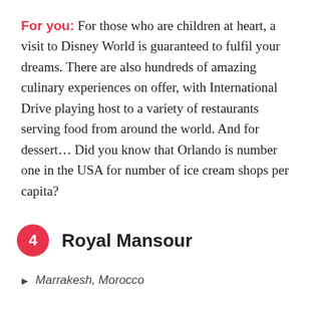For you: For those who are children at heart, a visit to Disney World is guaranteed to fulfil your dreams. There are also hundreds of amazing culinary experiences on offer, with International Drive playing host to a variety of restaurants serving food from around the world. And for dessert... Did you know that Orlando is number one in the USA for number of ice cream shops per capita?
4 Royal Mansour
Marrakesh, Morocco